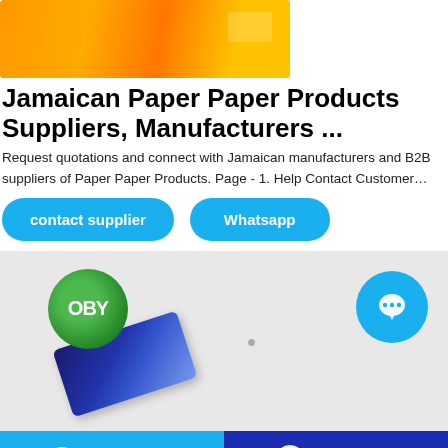[Figure (photo): Orange product packaging photographed on a white/gray background, partially cropped at the top]
Jamaican Paper Paper Products Suppliers, Manufacturers ...
Request quotations and connect with Jamaican manufacturers and B2B suppliers of Paper Paper Products. Page - 1. Help Contact Customer…
contact supplier
Whatsapp
[Figure (photo): OBY branded product logo (circular green logo) and a blue product package on a gray background, with a circular blue chat button on the right]
Chat online
WhatsApp